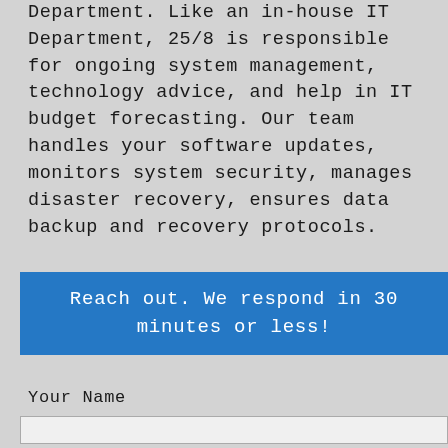Department. Like an in-house IT Department, 25/8 is responsible for ongoing system management, technology advice, and help in IT budget forecasting. Our team handles your software updates, monitors system security, manages disaster recovery, ensures data backup and recovery protocols.
Reach out. We respond in 30 minutes or less!
Your Name